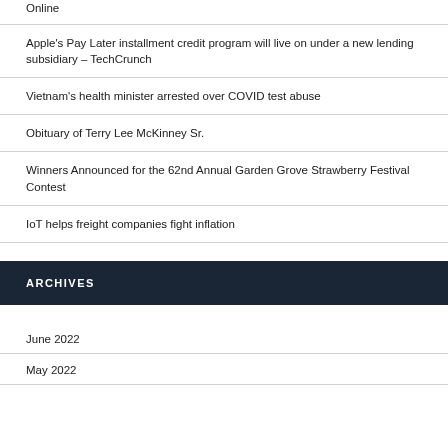Online
Apple's Pay Later installment credit program will live on under a new lending subsidiary – TechCrunch
Vietnam's health minister arrested over COVID test abuse
Obituary of Terry Lee McKinney Sr.
Winners Announced for the 62nd Annual Garden Grove Strawberry Festival Contest
IoT helps freight companies fight inflation
ARCHIVES
June 2022
May 2022